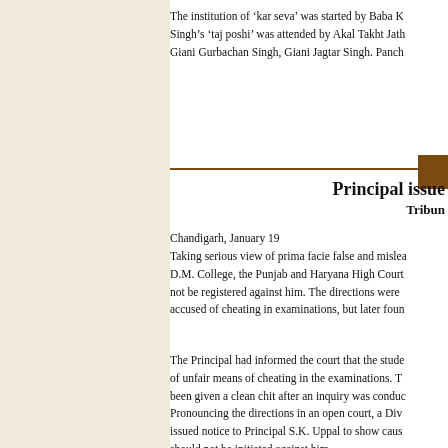The institution of ‘kar seva’ was started by Baba K… Singh’s ‘taj poshi’ was attended by Akal Takht Jath… Giani Gurbachan Singh, Giani Jagtar Singh. Panch…
Principal issue…
Tribun…
Chandigarh, January 19
Taking serious view of prima facie false and mislea… D.M. College, the Punjab and Haryana High Court… not be registered against him. The directions were … accused of cheating in examinations, but later foun…
The Principal had informed the court that the stude… of unfair means of cheating in the examinations. T… been given a clean chit after an inquiry was conduc…
Pronouncing the directions in an open court, a Div… issued notice to Principal S.K. Uppal to show caus… should not be initiated against him.
In his petition, the student, Vivek Aggarwal of Mo… the college to issue him the roll number for sitting…